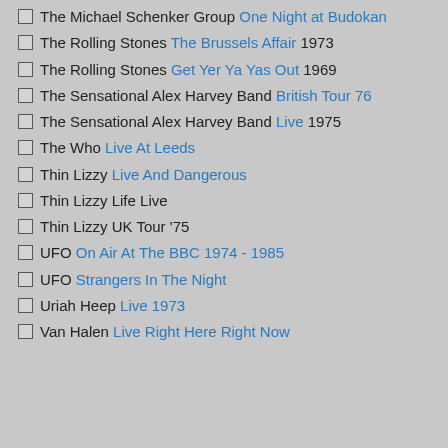The Michael Schenker Group One Night at Budokan
The Rolling Stones The Brussels Affair 1973
The Rolling Stones Get Yer Ya Yas Out 1969
The Sensational Alex Harvey Band British Tour 76
The Sensational Alex Harvey Band Live 1975
The Who Live At Leeds
Thin Lizzy Live And Dangerous
Thin Lizzy Life Live
Thin Lizzy UK Tour '75
UFO On Air At The BBC 1974 - 1985
UFO Strangers In The Night
Uriah Heep Live 1973
Van Halen Live Right Here Right Now